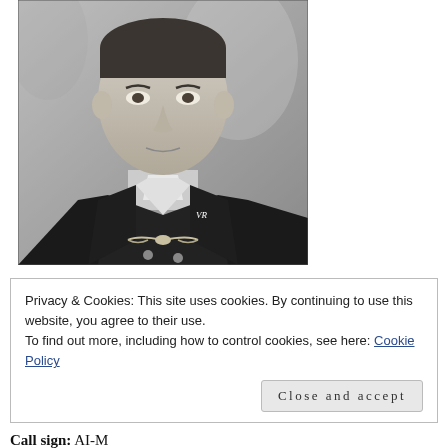[Figure (photo): Black and white photograph of a young military pilot in uniform, wearing wings badge and VR insignia on lapel, cropped to show head and upper torso.]
Privacy & Cookies: This site uses cookies. By continuing to use this website, you agree to their use.
To find out more, including how to control cookies, see here: Cookie Policy
Close and accept
Call sign: AI-M